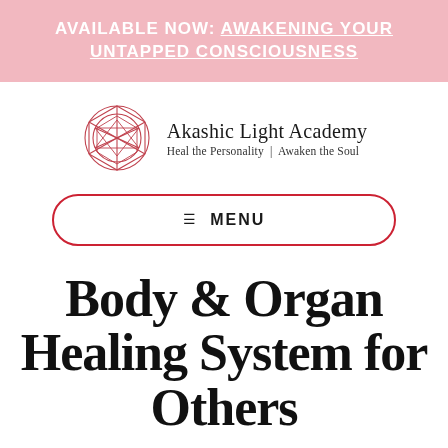AVAILABLE NOW: AWAKENING YOUR UNTAPPED CONSCIOUSNESS
[Figure (logo): Akashic Light Academy geometric gem logo in red outline]
Akashic Light Academy
Heal the Personality | Awaken the Soul
☰ MENU
Body & Organ Healing System for Others